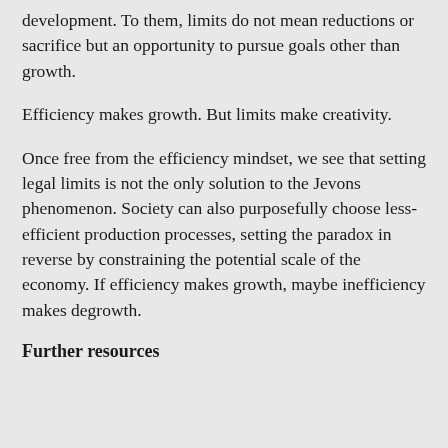development. To them, limits do not mean reductions or sacrifice but an opportunity to pursue goals other than growth.
Efficiency makes growth. But limits make creativity.
Once free from the efficiency mindset, we see that setting legal limits is not the only solution to the Jevons phenomenon. Society can also purposefully choose less-efficient production processes, setting the paradox in reverse by constraining the potential scale of the economy. If efficiency makes growth, maybe inefficiency makes degrowth.
Further resources